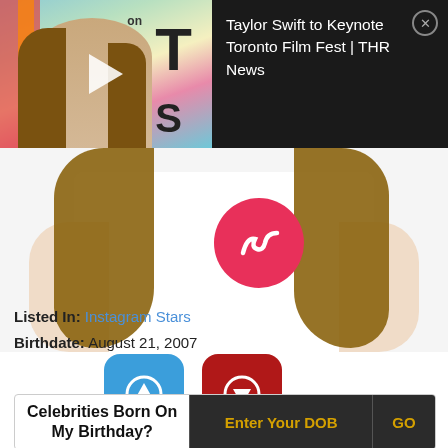[Figure (screenshot): Video thumbnail showing a woman with long hair at what appears to be an awards event, with a play button overlay]
Taylor Swift to Keynote Toronto Film Fest | THR News
[Figure (photo): Person wearing a white t-shirt with a musical.ly logo (pink circle with waveform icon), showing torso and long hair]
162
32
Listed In: Instagram Stars
Birthdate: August 21, 2007
Celebrities Born On My Birthday?
Enter Your DOB
GO